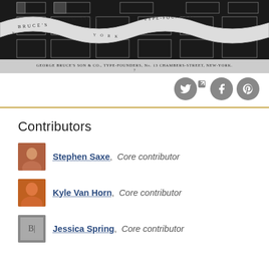[Figure (photo): Black and white historical image of Bruce's New-York Type-Foundry floor plan or typographic layout. Text reads 'GEORGE BRUCE'S SON & CO., TYPE-FOUNDERS, No. 13 CHAMBERS-STREET, NEW-YORK.' with number 7 below.]
[Figure (infographic): Social media sharing icons: Twitter (with external link arrow), Facebook, and Pinterest - all circular grey buttons]
Contributors
Stephen Saxe, Core contributor
Kyle Van Horn, Core contributor
Jessica Spring, Core contributor